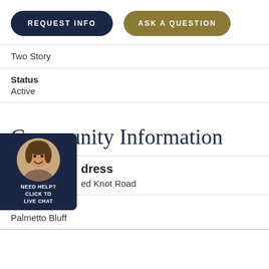[Figure (other): Two buttons: REQUEST INFO (dark navy) and ASK A QUESTION (gold/olive)]
Two Story
Status
Active
Community Information
Address
ed Knot Road
Area
Palmetto Bluff
[Figure (other): Live chat widget with female agent photo and NEED HELP? CLICK TO LIVE CHAT label on dark navy background]